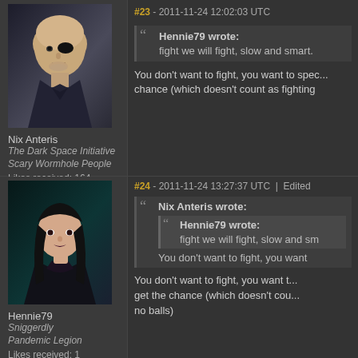#23 - 2011-11-24 12:02:03 UTC
[Figure (illustration): Avatar portrait of Nix Anteris: bald man with eye patch, dark suit, serious expression]
Nix Anteris
The Dark Space Initiative
Scary Wormhole People
Likes received: 164
Hennie79 wrote:
fight we will fight, slow and smart.
You don't want to fight, you want to spec... chance (which doesn't count as fighting
#24 - 2011-11-24 13:27:37 UTC  |  Edited
[Figure (illustration): Avatar portrait of Hennie79: woman with black hair, dark lipstick, black dress]
Hennie79
Sniggerdly
Pandemic Legion
Likes received: 1
Nix Anteris wrote:
  Hennie79 wrote:
    fight we will fight, slow and sm...
You don't want to fight, you want to... get the chance (which doesn't cou... no balls)